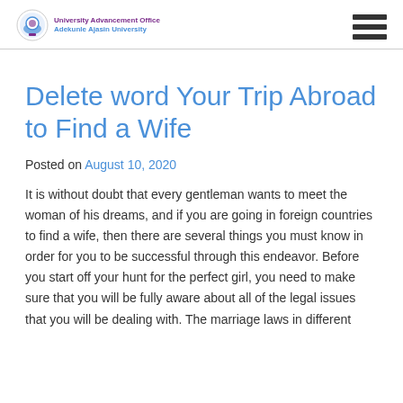University Advancement Office | Adekunle Ajasin University
Delete word Your Trip Abroad to Find a Wife
Posted on August 10, 2020
It is without doubt that every gentleman wants to meet the woman of his dreams, and if you are going in foreign countries to find a wife, then there are several things you must know in order for you to be successful through this endeavor. Before you start off your hunt for the perfect girl, you need to make sure that you will be fully aware about all of the legal issues that you will be dealing with. The marriage laws in different